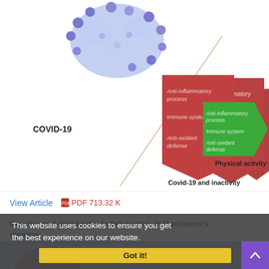[Figure (infographic): Schematic diagram showing COVID-19 virus particle at top left, with two arrow-shaped boxes below: a red/dark red box labeled 'Anti-inflammatory process, Immune system, Anti-oxidant defense' representing 'Covid-19 and inactivity', and a green pentagonal box with the same three items representing 'Physical activity and Covid-19'. A diagonal line crosses between the two shapes. Labels 'COVID-19' on the left and labels beneath each shape.]
View Article   PDF 713.32 K
Genetic and epigenetic collaboration in Parkinson's disease
Volume 1, Issue 4, July and August 2021, Pages 165-175
doi 10.22034/CAJMPSI.2021.04.01
Mostafa Khafaei; Ebrahim Kiani; Mehdi Naderi
This website uses cookies to ensure you get the best experience on our website. Got it!